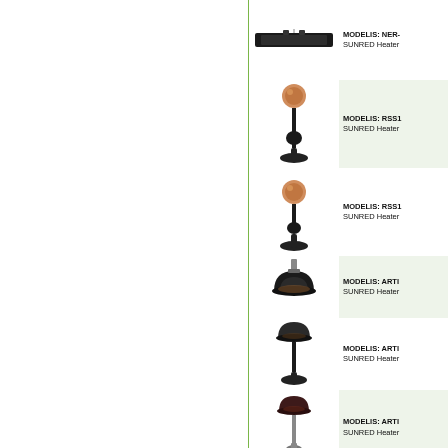[Figure (photo): Horizontal black infrared heater bar, ceiling/wall mount style]
MODELIS: NER-
SUNRED Heater
[Figure (photo): Floor-standing heater with round copper/rose gold spherical element on tall black pole with circular base]
MODELIS: RSS1
SUNRED Heater
[Figure (photo): Floor-standing heater with round copper/rose gold spherical element on medium black pole with circular base]
MODELIS: RSS1
SUNRED Heater
[Figure (photo): Black mushroom/dome shaped pendant heater]
MODELIS: ARTI
SUNRED Heater
[Figure (photo): Floor-standing heater with dark mushroom/dome shaped element on tall pole with circular base]
MODELIS: ARTI
SUNRED Heater
[Figure (photo): Floor-standing heater with dark mushroom/dome shaped element on shorter pole with circular base]
MODELIS: ARTI
SUNRED Heater